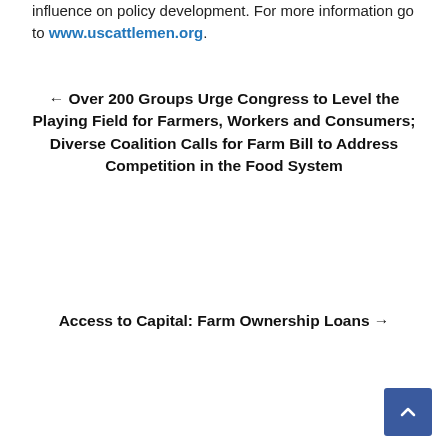influence on policy development. For more information go to www.uscattlemen.org.
← Over 200 Groups Urge Congress to Level the Playing Field for Farmers, Workers and Consumers; Diverse Coalition Calls for Farm Bill to Address Competition in the Food System
Access to Capital: Farm Ownership Loans →